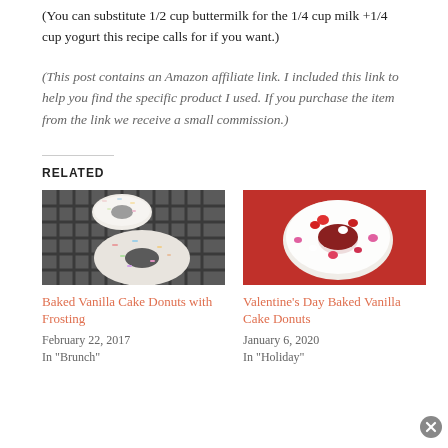(You can substitute 1/2 cup buttermilk for the 1/4 cup milk +1/4 cup yogurt this recipe calls for if you want.)
(This post contains an Amazon affiliate link. I included this link to help you find the specific product I used. If you purchase the item from the link we receive a small commission.)
RELATED
[Figure (photo): Baked vanilla cake donuts with white frosting and colorful sprinkles on a cooling rack]
Baked Vanilla Cake Donuts with Frosting
February 22, 2017
In "Brunch"
[Figure (photo): Valentine's Day baked vanilla cake donut with white frosting and red and pink heart-shaped sprinkles on a red background]
Valentine's Day Baked Vanilla Cake Donuts
January 6, 2020
In "Holiday"